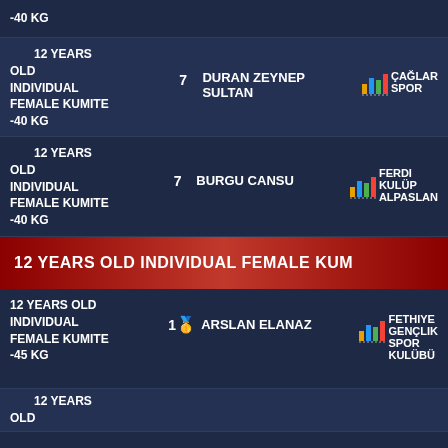12 YEARS OLD INDIVIDUAL FEMALE KUMITE -40 KG | 7 | DURAN ZEYNEP SULTAN | ÇAĞLAR SPOR
12 YEARS OLD INDIVIDUAL FEMALE KUMITE -40 KG | 7 | BURGU CANSU | FERDI KULÜP ALPASLAN
12 YEARS OLD INDIVIDUAL FEMALE KUMITE
12 YEARS OLD INDIVIDUAL FEMALE KUMITE -45 KG | 1 🥇 | ARSLAN ELANAZ | FETHIYE GENÇLIK SPOR KULÜBÜ
12 YEARS OLD